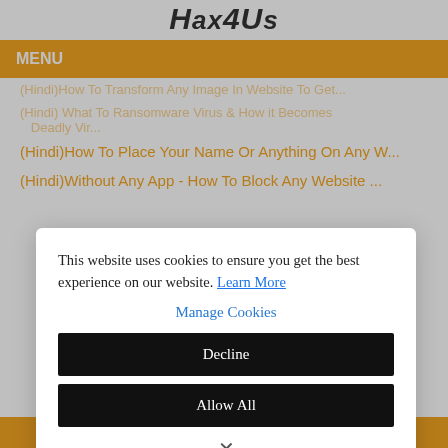Hax4Us
MENU
(Hindi)How To Transform Any Image In Website To Get...
(Hindi) What To Ransomware Virus & How it Becomes Deadly Vir...
(Hindi)How To Place Your Name Or Anything On Any W...
(Hindi)Without Any App - How To Block Any Website ...
This website uses cookies to ensure you get the best experience on our website. Learn More
Manage Cookies
Decline
Allow All
All About C Part-4 Data Types In Hindi - We